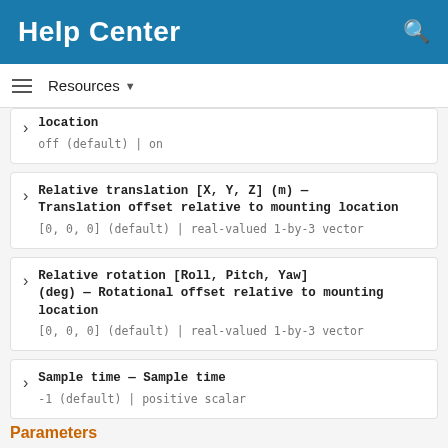Help Center
Resources ▼
location — off (default) | on
Relative translation [X, Y, Z] (m) — Translation offset relative to mounting location — [0, 0, 0] (default) | real-valued 1-by-3 vector
Relative rotation [Roll, Pitch, Yaw] (deg) — Rotational offset relative to mounting location — [0, 0, 0] (default) | real-valued 1-by-3 vector
Sample time — Sample time — -1 (default) | positive scalar
Parameters